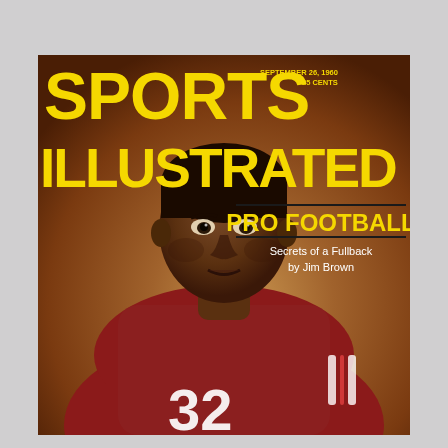[Figure (illustration): Sports Illustrated magazine cover from September 26, 1960, featuring Jim Brown (#32) of the Cleveland Browns in his football uniform against a warm brown background. Jim Brown is depicted from the waist up, looking directly at the viewer.]
SPORTS ILLUSTRATED
SEPTEMBER 26, 1960   25 CENTS
PRO FOOTBALL
Secrets of a Fullback by Jim Brown